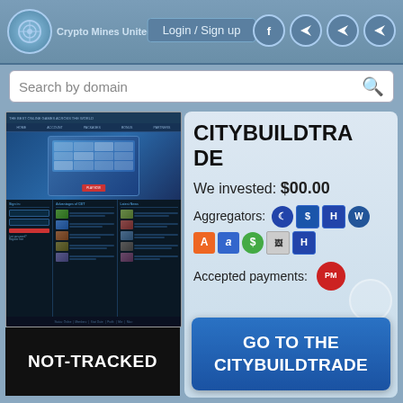Login / Sign up
Search by domain
[Figure (screenshot): Screenshot of CityBuildTrade website showing a city-building game interface with blue/dark theme, navigation bar, hero image, sign-in form, and news sections]
NOT-TRACKED
CITYBUILDTRADE
We invested: $00.00
Aggregators: [icons]
Accepted payments: [PM icon]
GO TO THE CITYBUILDTRADE